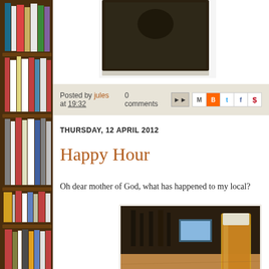[Figure (photo): Bookshelf with colourful book spines on left sidebar]
[Figure (photo): Partially visible dark photo at top centre of page]
Posted by jules at 19:32   0 comments
THURSDAY, 12 APRIL 2012
Happy Hour
Oh dear mother of God, what has happened to my local?
[Figure (photo): Photo of a pub table with a pint of beer and an open magazine/newspaper]